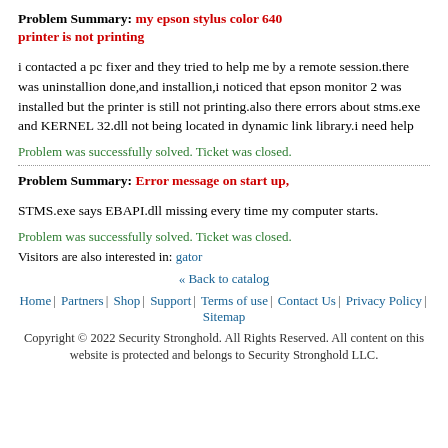Problem Summary: my epson stylus color 640 printer is not printing
i contacted a pc fixer and they tried to help me by a remote session.there was uninstallion done,and installion,i noticed that epson monitor 2 was installed but the printer is still not printing.also there errors about stms.exe and KERNEL 32.dll not being located in dynamic link library.i need help
Problem was successfully solved. Ticket was closed.
Problem Summary: Error message on start up,
STMS.exe says EBAPI.dll missing every time my computer starts.
Problem was successfully solved. Ticket was closed.
Visitors are also interested in: gator
« Back to catalog
Home | Partners | Shop | Support | Terms of use | Contact Us | Privacy Policy | Sitemap
Copyright © 2022 Security Stronghold. All Rights Reserved. All content on this website is protected and belongs to Security Stronghold LLC.